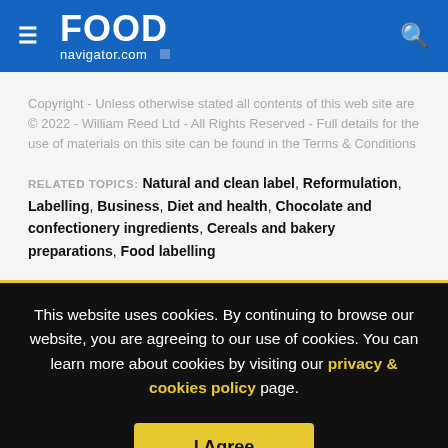FOOD navigator.com
Copyright - Unless otherwise stated all contents of this web site are © 2022 - William Reed Ltd - All Rights Reserved - Full details for the use of materials on this site can be found in the Terms & Conditions
RELATED TOPICS: Natural and clean label, Reformulation, Labelling, Business, Diet and health, Chocolate and confectionery ingredients, Cereals and bakery preparations, Food labelling
This website uses cookies. By continuing to browse our website, you are agreeing to our use of cookies. You can learn more about cookies by visiting our privacy & cookies policy page.
I Agree